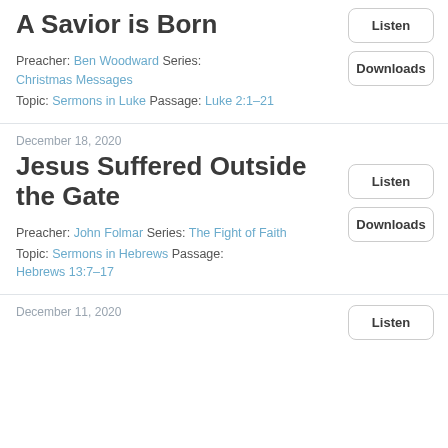A Savior is Born
Preacher: Ben Woodward Series: Christmas Messages
Topic: Sermons in Luke Passage: Luke 2:1–21
December 18, 2020
Jesus Suffered Outside the Gate
Preacher: John Folmar Series: The Fight of Faith
Topic: Sermons in Hebrews Passage: Hebrews 13:7–17
December 11, 2020